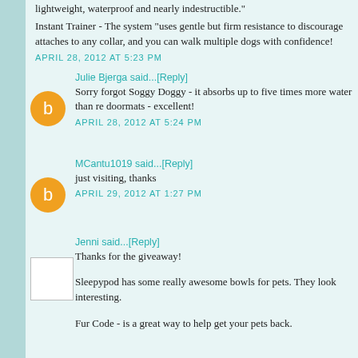lightweight, waterproof and nearly indestructible."
Instant Trainer - The system "uses gentle but firm resistance to discourage attaches to any collar, and you can walk multiple dogs with confidence!
APRIL 28, 2012 AT 5:23 PM
Julie Bjerga said...[Reply]
Sorry forgot Soggy Doggy - it absorbs up to five times more water than re doormats - excellent!
APRIL 28, 2012 AT 5:24 PM
MCantu1019 said...[Reply]
just visiting, thanks
APRIL 29, 2012 AT 1:27 PM
Jenni said...[Reply]
Thanks for the giveaway!
Sleepypod has some really awesome bowls for pets. They look interesting.
Fur Code - is a great way to help get your pets back.